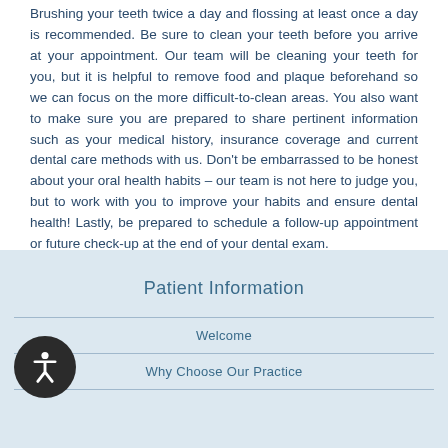Brushing your teeth twice a day and flossing at least once a day is recommended. Be sure to clean your teeth before you arrive at your appointment. Our team will be cleaning your teeth for you, but it is helpful to remove food and plaque beforehand so we can focus on the more difficult-to-clean areas. You also want to make sure you are prepared to share pertinent information such as your medical history, insurance coverage and current dental care methods with us. Don't be embarrassed to be honest about your oral health habits – our team is not here to judge you, but to work with you to improve your habits and ensure dental health! Lastly, be prepared to schedule a follow-up appointment or future check-up at the end of your dental exam.
Patient Information
Welcome
Why Choose Our Practice